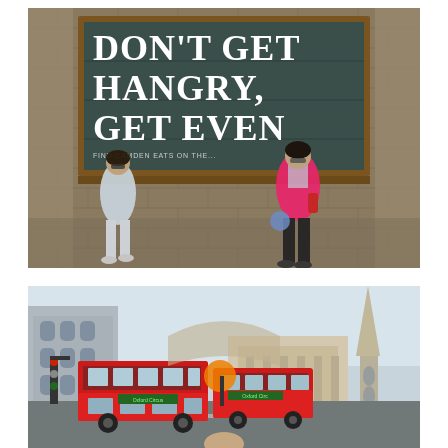[Figure (photo): Two young women posing in front of a large dark green chalkboard sign mounted on a brick wall. The sign reads 'DON'T GET HANGRY, GET EVEN' in large white bold letters with smaller text below. One woman wears a light blue/grey coat and light trousers, the other wears a bright pink jacket with dark trousers. The setting appears to be Camden, London.]
[Figure (photo): Street scene in London showing red double-decker buses on a busy road. Historic London buildings and a tall neoclassical church spire are visible in the background. Traffic lights and street furniture are visible. A person is partially visible at the bottom of the frame.]